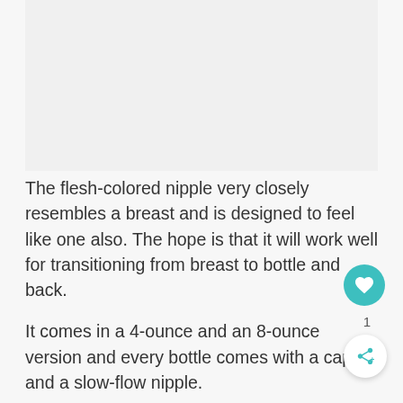[Figure (photo): Product image area at top of page (light gray placeholder)]
The flesh-colored nipple very closely resembles a breast and is designed to feel like one also. The hope is that it will work well for transitioning from breast to bottle and back.
It comes in a 4-ounce and an 8-ounce version and every bottle comes with a cap and a slow-flow nipple.
Features